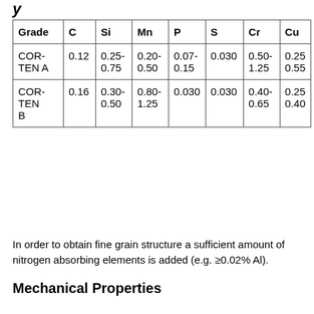| Grade | C | Si | Mn | P | S | Cr | Cu |
| --- | --- | --- | --- | --- | --- | --- | --- |
| COR-TEN A | 0.12 | 0.25-0.75 | 0.20-0.50 | 0.07-0.15 | 0.030 | 0.50-1.25 | 0.25-0.55 |
| COR-TEN B | 0.16 | 0.30-0.50 | 0.80-1.25 | 0.030 | 0.030 | 0.40-0.65 | 0.25-0.40 |
In order to obtain fine grain structure a sufficient amount of nitrogen absorbing elements is added (e.g. ≥0.02% Al).
Mechanical Properties